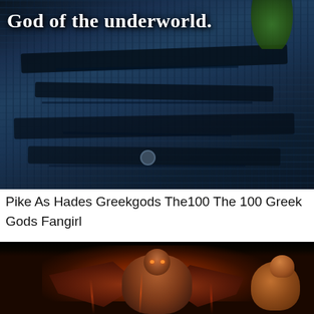[Figure (photo): Dark fantasy/sci-fi image showing a person in dark tactical armor/vest with straps and gear, with green foliage in upper right corner. White bold text overlay reads 'God of the underworld.' at the top.]
Pike As Hades Greekgods The100 The 100 Greek Gods Fangirl
[Figure (illustration): Dark fantasy illustration showing a winged muscular figure (possibly Hades or a demon deity) with glowing eyes, large spread wings, surrounded by fire/flames, with an animal (possibly a leopard or lion) visible on the right side. Dark and fiery color palette of oranges, reds, and browns on black background.]